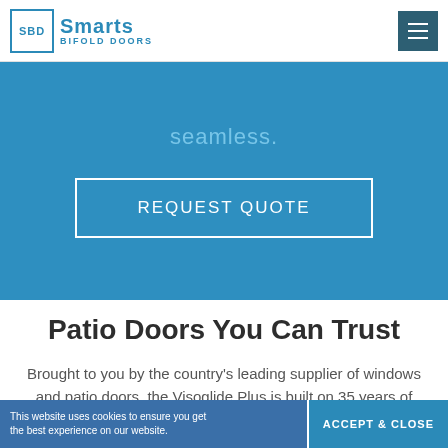SBD Smarts Bifold Doors
seamless.
REQUEST QUOTE
Patio Doors You Can Trust
Brought to you by the country's leading supplier of windows and patio doors, the Visoglide Plus is built on 35 years of experience and a commitment to the highest levels of design expertise and dedicated support services.
This website uses cookies to ensure you get the best experience on our website. ACCEPT & CLOSE